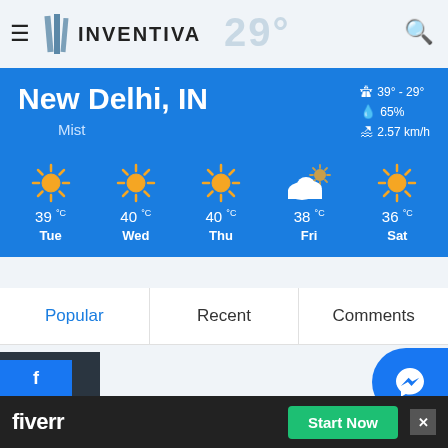[Figure (screenshot): Inventiva website header with hamburger menu, logo, temperature display 29, and search icon]
[Figure (infographic): Weather widget showing New Delhi, IN with Mist condition, 39-29 degrees range, 65% humidity, 2.57 km/h wind speed, and 5-day forecast: Tue 39°C, Wed 40°C, Thu 40°C, Fri 38°C, Sat 36°C]
| Popular | Recent | Comments |
| --- | --- | --- |
[Figure (screenshot): Bottom of page with partial article thumbnail and Messenger FAB icon]
[Figure (screenshot): Fiverr advertisement bar at bottom with fiverr logo and Start Now green button, close X button, Facebook bar]